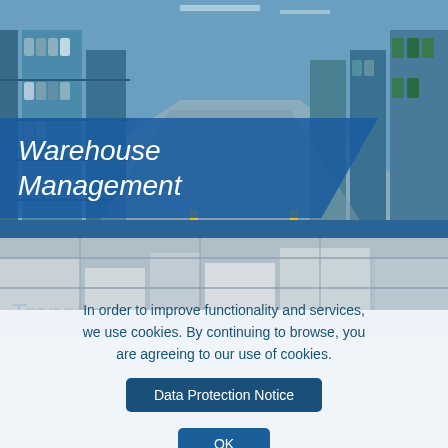[Figure (photo): Interior of a large warehouse with metal shelving racks filled with industrial drums and containers, viewed in perspective down a long aisle.]
Warehouse Management
[Figure (photo): Warehouse or transport area with boxes and shelving, partially obscured by cookie consent overlay.]
In order to improve functionality and services, we use cookies. By continuing to browse, you are agreeing to our use of cookies.
Data Protection Notice
OK